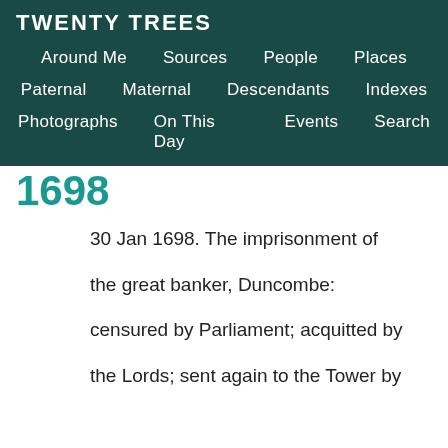TWENTY TREES
Around Me   Sources   People   Places   Paternal   Maternal   Descendants   Indexes   Photographs   On This Day   Events   Search
1698
30 Jan 1698. The imprisonment of the great banker, Duncombe: censured by Parliament; acquitted by the Lords; sent again to the Tower by